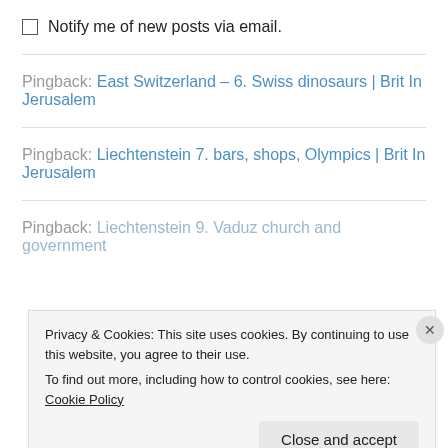Notify me of new posts via email.
Pingback: East Switzerland – 6. Swiss dinosaurs | Brit In Jerusalem
Pingback: Liechtenstein 7. bars, shops, Olympics | Brit In Jerusalem
Pingback: Liechtenstein 9. Vaduz church and government
Privacy & Cookies: This site uses cookies. By continuing to use this website, you agree to their use.
To find out more, including how to control cookies, see here: Cookie Policy
Close and accept